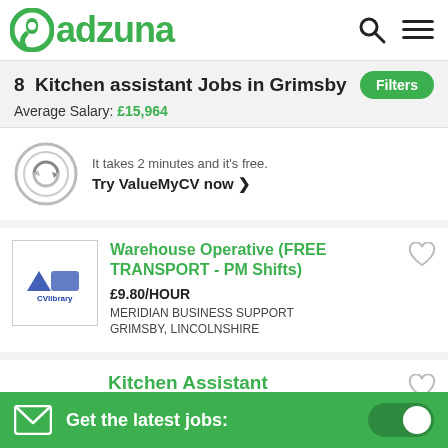adzuna
8  Kitchen assistant Jobs in Grimsby
Average Salary: £15,964
It takes 2 minutes and it's free. Try ValueMyCV now ❯
Warehouse Operative (FREE TRANSPORT - PM Shifts)
£9.80/HOUR
MERIDIAN BUSINESS SUPPORT
GRIMSBY, LINCOLNSHIRE
Kitchen Assistant
JOBSWORTH: £ 17,470 P.A.
WHITBREAD
Get the latest jobs: